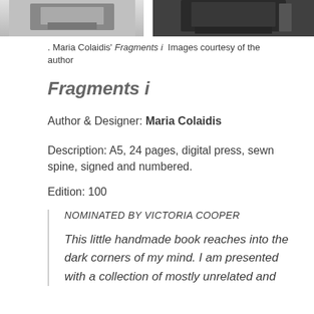[Figure (photo): Two black and white photographs side by side, partially visible at the top of the page — left image shows a lighter toned object, right image shows a darker toned book or object]
. Maria Colaidis' Fragments i  Images courtesy of the author
Fragments i
Author & Designer: Maria Colaidis
Description: A5, 24 pages, digital press, sewn spine, signed and numbered.
Edition: 100
NOMINATED BY VICTORIA COOPER
This little handmade book reaches into the dark corners of my mind. I am presented with a collection of mostly unrelated and